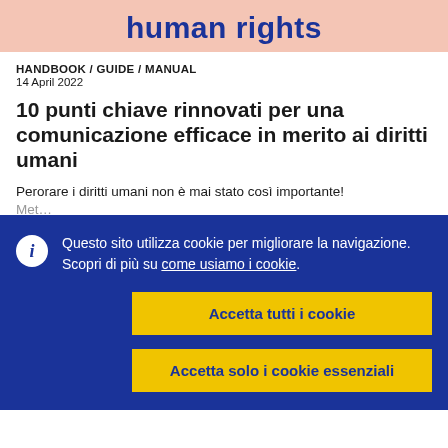[Figure (illustration): Pink banner with 'human rights' text in bold dark blue]
HANDBOOK / GUIDE / MANUAL
14 April 2022
10 punti chiave rinnovati per una comunicazione efficace in merito ai diritti umani
Perorare i diritti umani non è mai stato così importante!
Questo sito utilizza cookie per migliorare la navigazione. Scopri di più su come usiamo i cookie.
Accetta tutti i cookie
Accetta solo i cookie essenziali